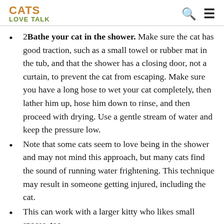CATS LOVE TALK
2Bathe your cat in the shower. Make sure the cat has good traction, such as a small towel or rubber mat in the tub, and that the shower has a closing door, not a curtain, to prevent the cat from escaping. Make sure you have a long hose to wet your cat completely, then lather him up, hose him down to rinse, and then proceed with drying. Use a gentle stream of water and keep the pressure low.
Note that some cats seem to love being in the shower and may not mind this approach, but many cats find the sound of running water frightening. This technique may result in someone getting injured, including the cat.
This can work with a larger kitty who likes small spaces, too.
You May Like: How Old Is 20 In Cat Years
Are There Any Health Issues I